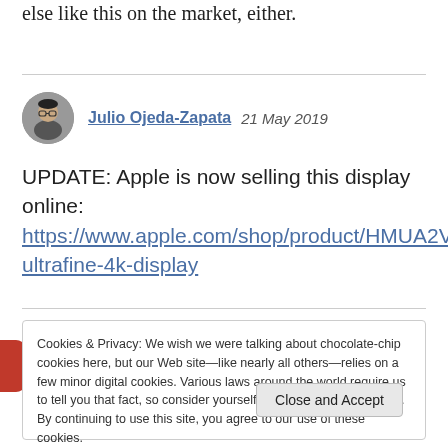else like this on the market, either.
Julio Ojeda-Zapata  21 May 2019
UPDATE: Apple is now selling this display online: https://www.apple.com/shop/product/HMUA2VC/A/lg-ultrafine-4k-display
Cookies & Privacy: We wish we were talking about chocolate-chip cookies here, but our Web site—like nearly all others—relies on a few minor digital cookies. Various laws around the world require us to tell you that fact, so consider yourself informed, if not nourished. By continuing to use this site, you agree to our use of these cookies. Cookie and Privacy Notice